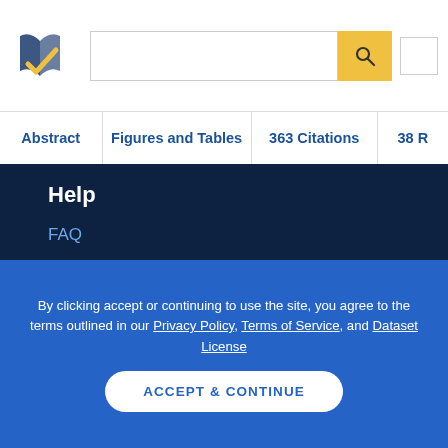[Figure (logo): Semantic Scholar logo — stylized book pages with blue and gold checkmark]
Abstract | Figures and Tables | 363 Citations | 38 R
Help
FAQ
Librarians
Tutorials
Contact
By clicking accept or continuing to use the site, you agree to the terms outlined in our Privacy Policy, Terms of Service, and Dataset License
ACCEPT & CONTINUE